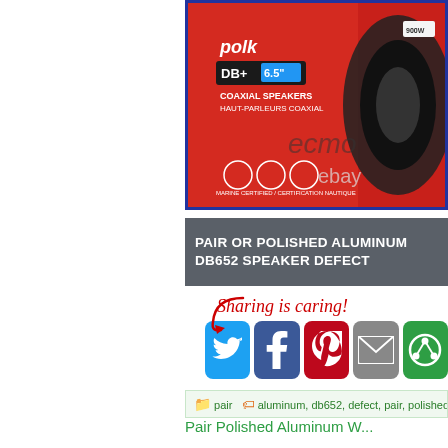[Figure (photo): Product photo of Polk Audio DB+ 6.5 inch coaxial speakers in red box, with ecmo watermark and ebay watermark, marine certified]
PAIR OR POLISHED ALUMINUM DB652 SPEAKER DEFECT
[Figure (infographic): Sharing is caring! social sharing buttons for Twitter, Facebook, Pinterest, Email, and another service, with red arrow illustration]
pair  aluminum, db652, defect, pair, polished, po...
Pair Polished Aluminum W...